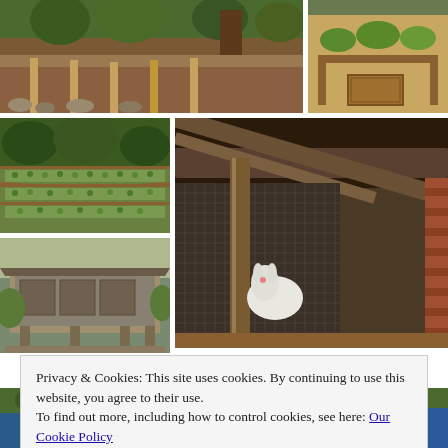[Figure (photo): Outdoor garden/farm trench construction with wooden supports, trees in background]
[Figure (photo): Garden bed with seedlings growing in sandy soil, wooden frame visible]
[Figure (photo): Rows of green seedlings growing in terraced garden beds in forested area]
[Figure (photo): Close-up of rabbit hutch with wire mesh, wooden beams, and white rabbit inside]
[Figure (photo): Exterior of wooden elevated rabbit/poultry hutch structure]
[Figure (photo): Partial view of outdoor scene with blue tarpaulin, bottom strip left]
[Figure (photo): Partial view of outdoor scene, bottom strip right]
Privacy & Cookies: This site uses cookies. By continuing to use this website, you agree to their use.
To find out more, including how to control cookies, see here: Our Cookie Policy
Close and accept